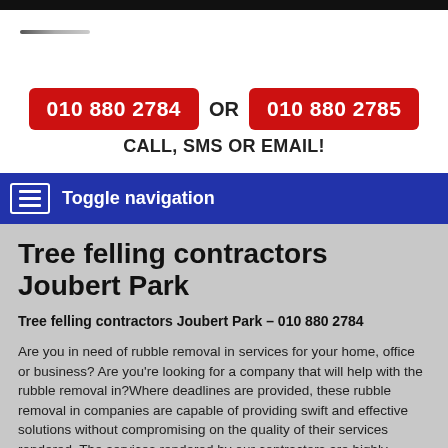[Figure (logo): Small dark horizontal line logo in top-left area]
010 880 2784 OR 010 880 2785
CALL, SMS OR EMAIL!
Toggle navigation
Tree felling contractors Joubert Park
Tree felling contractors Joubert Park – 010 880 2784
Are you in need of rubble removal in services for your home, office or business? Are you're looking for a company that will help with the rubble removal in?Where deadlines are provided, these rubble removal in companies are capable of providing swift and effective solutions without compromising on the quality of their services rendered. The services rendered by our contractors are highly acknowledgeable and are quite diverse.